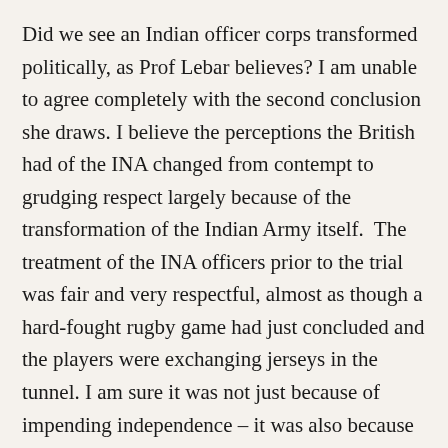Did we see an Indian officer corps transformed politically, as Prof Lebar believes? I am unable to agree completely with the second conclusion she draws. I believe the perceptions the British had of the INA changed from contempt to grudging respect largely because of the transformation of the Indian Army itself.  The treatment of the INA officers prior to the trial was fair and very respectful, almost as though a hard-fought rugby game had just concluded and the players were exchanging jerseys in the tunnel. I am sure it was not just because of impending independence – it was also because of mutual respect.